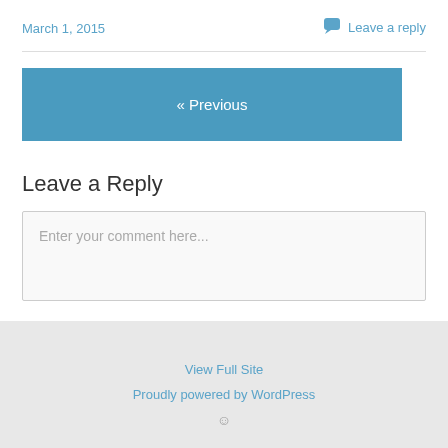March 1, 2015
Leave a reply
« Previous
Leave a Reply
Enter your comment here...
View Full Site
Proudly powered by WordPress